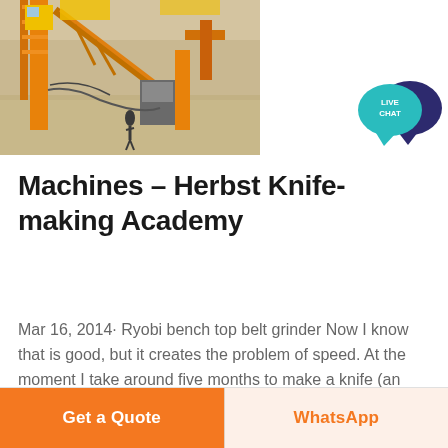[Figure (photo): Aerial view of construction or industrial machinery site with orange crane/conveyor structures and a worker visible on the ground.]
[Figure (other): Live Chat button — teal speech bubble with text 'LIVE CHAT' overlapping a dark navy speech bubble icon.]
Machines - Herbst Knife-making Academy
Mar 16, 2014· Ryobi bench top belt grinder Now I know that is good, but it creates the problem of speed. At the moment I take around five months to make a knife (an engineering student don't have a lot of free time on hands), but I need to drastically decrease that time for paying customers.
Get a Quote
WhatsApp